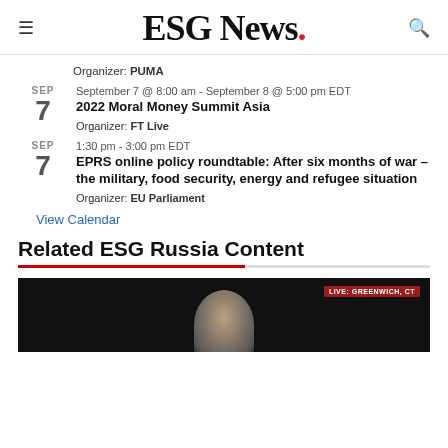ESG News.
Organizer: PUMA
SEP 7 — September 7 @ 8:00 am - September 8 @ 5:00 pm EDT
2022 Moral Money Summit Asia
Organizer: FT Live
SEP 7 — 1:30 pm - 3:00 pm EDT
EPRS online policy roundtable: After six months of war – the military, food security, energy and refugee situation
Organizer: EU Parliament
View Calendar
Related ESG Russia Content
[Figure (photo): Dark thumbnail image of a person, with a red badge reading LIVE: GREENWICH, CT in top right]